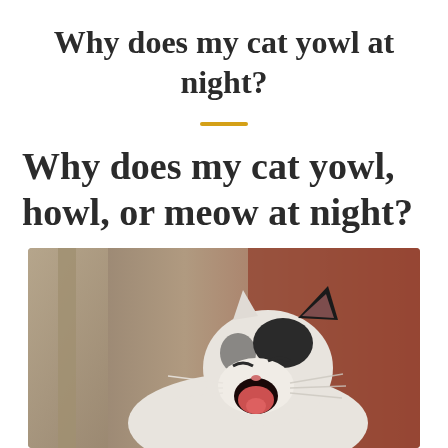Why does my cat yowl at night?
Why does my cat yowl, howl, or meow at night?
[Figure (photo): A black and white cat yowling with its mouth wide open, photographed against a blurred outdoor background with brick tones.]